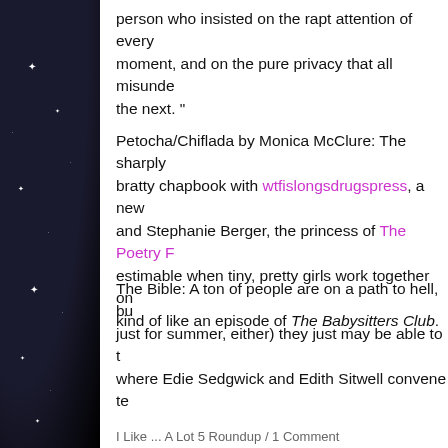person who insisted on the rapt attention of every moment, and on the pure privacy that all misunderstandings the next. ”
Petocha/Chiflada by Monica McClure: The sharply bratty chapbook with wtfislongsdrugspress, a new and Stephanie Berger, the princess of The Poetry F estimable when tiny, pretty girls work together on kind of like an episode of The Babysitters Club.
The Bible: A ton of people are on a path to hell, but just for summer, either) they just may be able to t where Edie Sedgwick and Edith Sitwell convene te
I Like ... A Lot 5 Roundup / 1 Comment